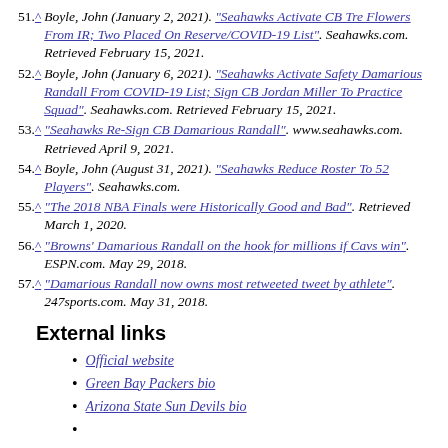51. ^ Boyle, John (January 2, 2021). "Seahawks Activate CB Tre Flowers From IR; Two Placed On Reserve/COVID-19 List". Seahawks.com. Retrieved February 15, 2021.
52. ^ Boyle, John (January 6, 2021). "Seahawks Activate Safety Damarious Randall From COVID-19 List; Sign CB Jordan Miller To Practice Squad". Seahawks.com. Retrieved February 15, 2021.
53. ^ "Seahawks Re-Sign CB Damarious Randall". www.seahawks.com. Retrieved April 9, 2021.
54. ^ Boyle, John (August 31, 2021). "Seahawks Reduce Roster To 52 Players". Seahawks.com.
55. ^ "The 2018 NBA Finals were Historically Good and Bad". Retrieved March 1, 2020.
56. ^ "Browns' Damarious Randall on the hook for millions if Cavs win". ESPN.com. May 29, 2018.
57. ^ "Damarious Randall now owns most retweeted tweet by athlete". 247sports.com. May 31, 2018.
External links
Official website
Green Bay Packers bio
Arizona State Sun Devils bio